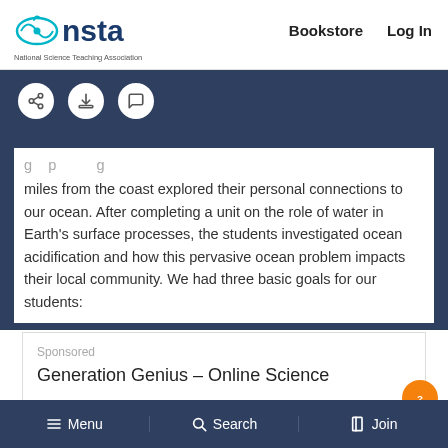[Figure (logo): NSTA - National Science Teaching Association logo with teal eye/leaf icon and dark blue text]
Bookstore   Log In
[Figure (infographic): Dark blue toolbar with share, download, and comment icon buttons]
miles from the coast explored their personal connections to our ocean. After completing a unit on the role of water in Earth's surface processes, the students investigated ocean acidification and how this pervasive ocean problem impacts their local community. We had three basic goals for our students:
Sponsored
Generation Genius – Online Science
≡ Menu   Q Search   Join